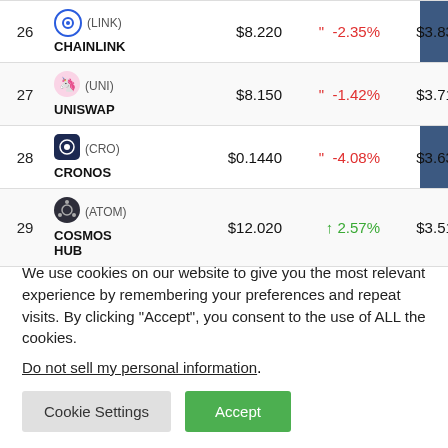| # | Name | Price | 24h % | Market Cap |
| --- | --- | --- | --- | --- |
| 26 | (LINK) CHAINLINK | $8.220 | -2.35% | $3.83 B |
| 27 | (UNI) UNISWAP | $8.150 | -1.42% | $3.71 B |
| 28 | (CRO) CRONOS | $0.1440 | -4.08% | $3.63 B |
| 29 | (ATOM) COSMOS HUB | $12.020 | 2.57% | $3.51 B |
We use cookies on our website to give you the most relevant experience by remembering your preferences and repeat visits. By clicking "Accept", you consent to the use of ALL the cookies.
Do not sell my personal information.